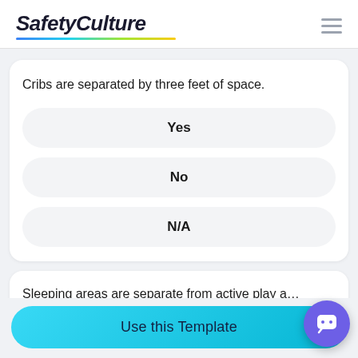SafetyCulture
Cribs are separated by three feet of space.
Yes
No
N/A
Sleeping areas are separate from active play a…
Use this Template